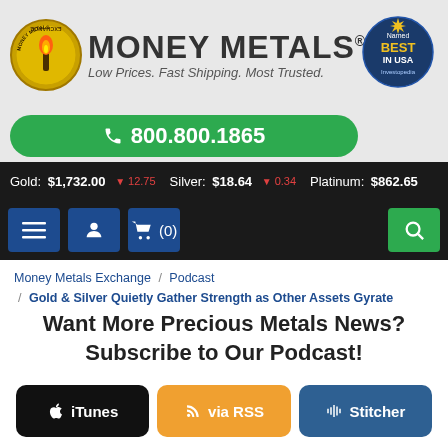[Figure (logo): Money Metals Exchange logo with flame torch icon in gold circle, text 'MONEY METALS' and tagline 'Low Prices. Fast Shipping. Most Trusted.']
[Figure (logo): Investopedia Named Best in USA badge]
800.800.1865
Gold: $1,732.00 -12.75   Silver: $18.64 -0.34   Platinum: $862.65
[Figure (infographic): Navigation bar with menu, account, cart (0), and search buttons]
Money Metals Exchange / Podcast / Gold & Silver Quietly Gather Strength as Other Assets Gyrate
Want More Precious Metals News? Subscribe to Our Podcast!
iTunes   via RSS   Stitcher